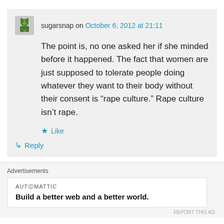sugarsnap on October 6, 2012 at 21:11
The point is, no one asked her if she minded before it happened. The fact that women are just supposed to tolerate people doing whatever they want to their body without their consent is “rape culture.” Rape culture isn’t rape.
★ Like
↳ Reply
Advertisements
AUTOMATTIC
Build a better web and a better world.